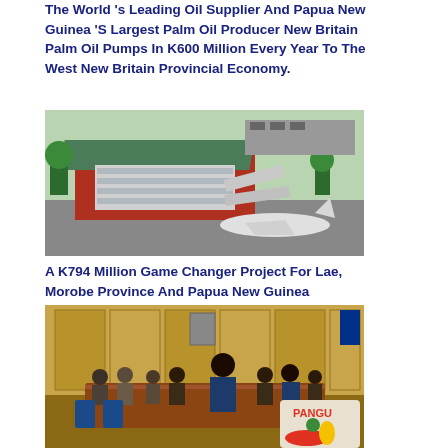The World's Leading Oil Supplier And Papua New Guinea 'S Largest Palm Oil Producer New Britain Palm Oil Pumps In K600 Million Every Year To The West New Britain Provincial Economy.
[Figure (photo): Aerial architectural rendering of an airport terminal building with green roof, passenger boarding bridges, and aircraft on tarmac, surrounded by greenery.]
A K794 Million Game Changer Project For Lae, Morobe Province And Papua New Guinea
[Figure (photo): Group of officials seated around a conference table in a meeting room, with a Pangu Party logo visible in the bottom right corner.]